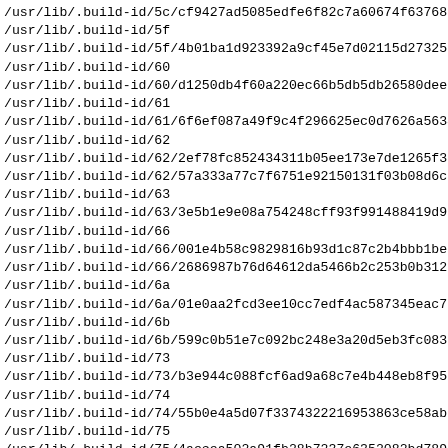/usr/lib/.build-id/5c/cf9427ad5085edfe6f82c7a60674f63768a
/usr/lib/.build-id/5f
/usr/lib/.build-id/5f/4b01ba1d923392a9cf45e7d02115d27325c
/usr/lib/.build-id/60
/usr/lib/.build-id/60/d1250db4f60a220ec66b5db5db26580dee2
/usr/lib/.build-id/61
/usr/lib/.build-id/61/6f6ef087a49f9c4f296625ec0d7626a5634
/usr/lib/.build-id/62
/usr/lib/.build-id/62/2ef78fc852434311b05ee173e7de1265f30
/usr/lib/.build-id/62/57a333a77c7f6751e92150131f03b08d6c9
/usr/lib/.build-id/63
/usr/lib/.build-id/63/3e5b1e9e08a754248cff93f991488419d95
/usr/lib/.build-id/66
/usr/lib/.build-id/66/001e4b58c9829816b93d1c87c2b4bbb1be3
/usr/lib/.build-id/66/2686987b76d64612da5466b2c253b0b312c
/usr/lib/.build-id/6a
/usr/lib/.build-id/6a/01e0aa2fcd3ee10cc7edf4ac587345eac72
/usr/lib/.build-id/6b
/usr/lib/.build-id/6b/599c0b51e7c092bc248e3a20d5eb3fc083f
/usr/lib/.build-id/73
/usr/lib/.build-id/73/b3e944c088fcf6ad9a68c7e4b448eb8f950
/usr/lib/.build-id/74
/usr/lib/.build-id/74/55b0e4a5d07f3374322216953863ce58aba1
/usr/lib/.build-id/75
/usr/lib/.build-id/75/4aecea502a91fb28b7237e6352082bd7895
/usr/lib/.build-id/7b
/usr/lib/.build-id/7b/81e2402da6ff6f47b5a5034970fff75f95c
/usr/lib/.build-id/7d
/usr/lib/.build-id/7d/0982a314e1f0c9849b95097c861741498830
/usr/lib/.build-id/80